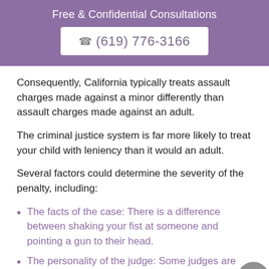Free & Confidential Consultations
☎ (619) 776-3166
Consequently, California typically treats assault charges made against a minor differently than assault charges made against an adult.
The criminal justice system is far more likely to treat your child with leniency than it would an adult.
Several factors could determine the severity of the penalty, including:
The facts of the case: There is a difference between shaking your fist at someone and pointing a gun to their head.
The personality of the judge: Some judges are